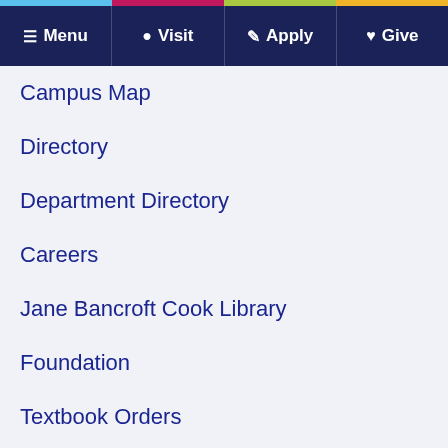Menu  Visit  Apply  Give
Campus Map
Directory
Department Directory
Careers
Jane Bancroft Cook Library
Foundation
Textbook Orders
NCF Store
Public Notices
myNCF
Emergency Procedures